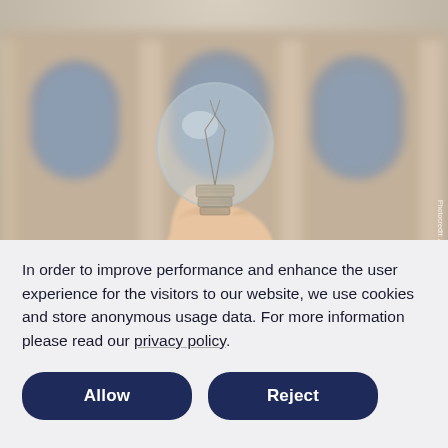[Figure (photo): A hand holding up a clear incandescent light bulb against a blurred background of a classical building with arched windows and columns. Photo credit: AnnaLogue.]
In order to improve performance and enhance the user experience for the visitors to our website, we use cookies and store anonymous usage data. For more information please read our privacy policy.
Allow
Reject